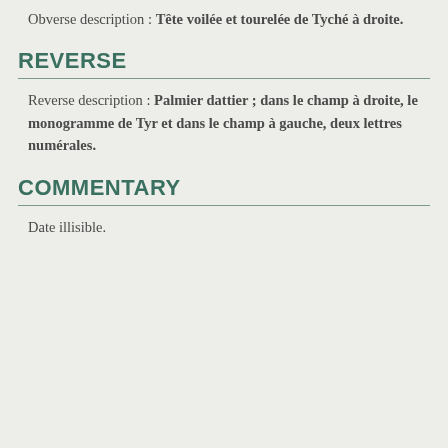Obverse description : Tête voilée et tourelée de Tyché à droite.
REVERSE
Reverse description : Palmier dattier ; dans le champ à droite, le monogramme de Tyr et dans le champ à gauche, deux lettres numérales.
COMMENTARY
Date illisible.
H...
PHOENICIA, TYR
(Second - first century BC)
Tyre, according to ... have been founded by colonists from Sidon, his great rival. Tyrian settlers founded Carthage in 814 BC. Tyre was one of the main ports of Phoe... of ... in the Eastern Mediterranean trade places. Tyre refused to submit to ...
cgb.fr uses cookies to guarantee a better user experience and to carry out statistics of visits.
To remove the banner, you must accept or refuse their use by clicking on the corresponding buttons.